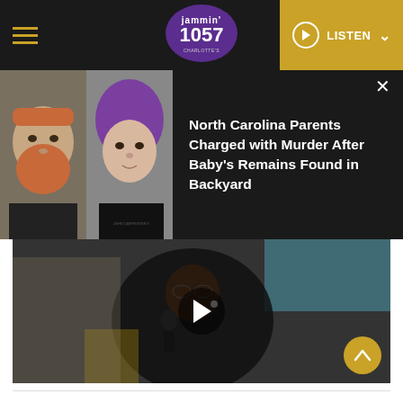Jammin' 1057 | LISTEN
[Figure (photo): News notification overlay showing mugshot photos of two individuals (man with red beard, woman with purple hair) alongside headline text about North Carolina parents charged with murder]
North Carolina Parents Charged with Murder After Baby's Remains Found in Backyard
[Figure (photo): Video player showing a man performing/rapping, with a play button overlay in the center]
1. Ruff Ryder's Anthem, 'It's Dark And Hell Is Hot' (1998)